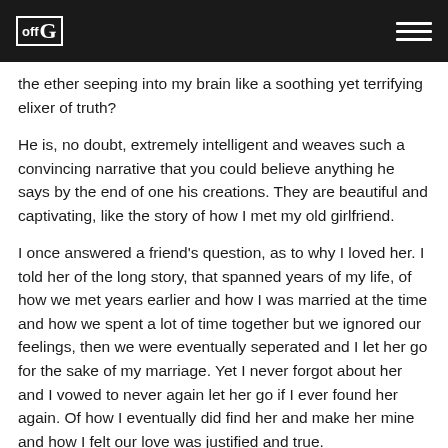offG
the ether seeping into my brain like a soothing yet terrifying elixer of truth?
He is, no doubt, extremely intelligent and weaves such a convincing narrative that you could believe anything he says by the end of one his creations. They are beautiful and captivating, like the story of how I met my old girlfriend.
I once answered a friend's question, as to why I loved her. I told her of the long story, that spanned years of my life, of how we met years earlier and how I was married at the time and how we spent a lot of time together but we ignored our feelings, then we were eventually seperated and I let her go for the sake of my marriage. Yet I never forgot about her and I vowed to never again let her go if I ever found her again. Of how I eventually did find her and make her mine and how I felt our love was justified and true.